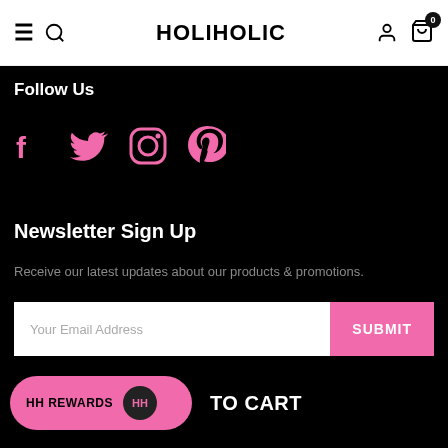HOLIHOLIC
Follow Us
[Figure (illustration): Social media icons: Facebook, Twitter, Instagram, Pinterest in pink color on black background]
Newsletter Sign Up
Receive our latest updates about our products & promotions.
Your Email Address [input field] SUBMIT [button]
HH REWARDS  HH  TO CART